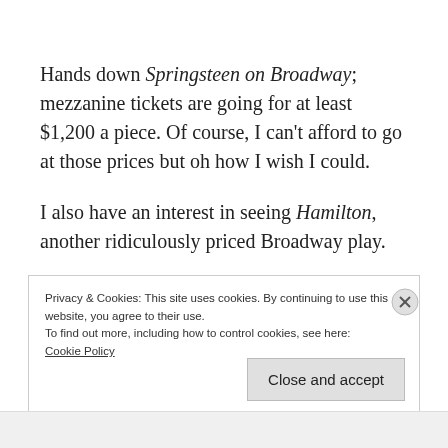Hands down Springsteen on Broadway; mezzanine tickets are going for at least $1,200 a piece. Of course, I can't afford to go at those prices but oh how I wish I could.
I also have an interest in seeing Hamilton, another ridiculously priced Broadway play.
Privacy & Cookies: This site uses cookies. By continuing to use this website, you agree to their use.
To find out more, including how to control cookies, see here:
Cookie Policy
Close and accept